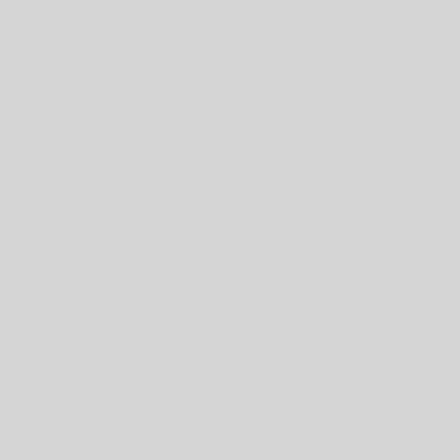1/16-mile race was the first s…
Reveron won the rac…
Steeplechase pl…
By:
New York, NY (Sports Netwo… received the 2011 Media Eclip… of thoroughbreds jumping… Saratoga Race Course on A…
Week…
Movie: A…